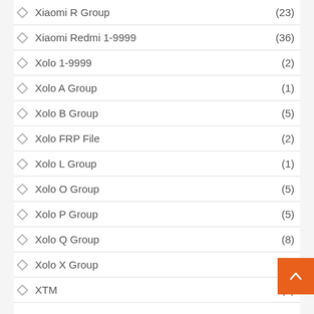Xiaomi R Group (23)
Xiaomi Redmi 1-9999 (36)
Xolo 1-9999 (2)
Xolo A Group (1)
Xolo B Group (5)
Xolo FRP File (2)
Xolo L Group (1)
Xolo O Group (5)
Xolo P Group (5)
Xolo Q Group (8)
Xolo X Group (3)
XTM (3)